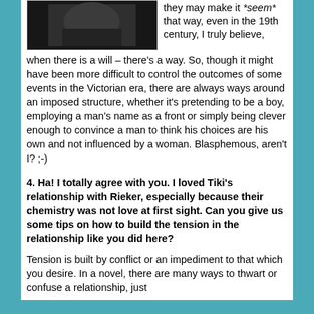[Figure (photo): Dark/black and white photo at top left, partially visible, showing hands or similar close-up]
they may make it *seem* that way, even in the 19th century, I truly believe, when there is a will – there's a way. So, though it might have been more difficult to control the outcomes of some events in the Victorian era, there are always ways around an imposed structure, whether it's pretending to be a boy, employing a man's name as a front or simply being clever enough to convince a man to think his choices are his own and not influenced by a woman. Blasphemous, aren't I? ;-)
4. Ha! I totally agree with you. I loved Tiki's relationship with Rieker, especially because their chemistry was not love at first sight. Can you give us some tips on how to build the tension in the relationship like you did here?
Tension is built by conflict or an impediment to that which you desire. In a novel, there are many ways to thwart or confuse a relationship, just